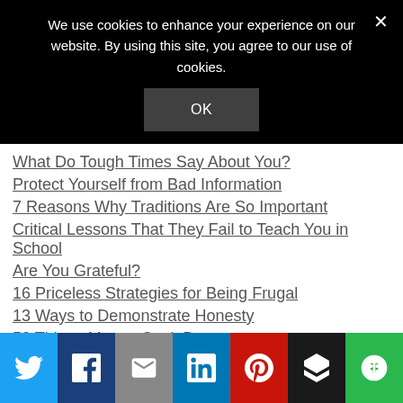We use cookies to enhance your experience on our website. By using this site, you agree to our use of cookies.
OK
What Do Tough Times Say About You?
Protect Yourself from Bad Information
7 Reasons Why Traditions Are So Important
Critical Lessons That They Fail to Teach You in School
Are You Grateful?
16 Priceless Strategies for Being Frugal
13 Ways to Demonstrate Honesty
50 Things Money Can't Buy
[Figure (infographic): Social share bar with Twitter, Facebook, Email, LinkedIn, Pinterest, Buffer, and More buttons]